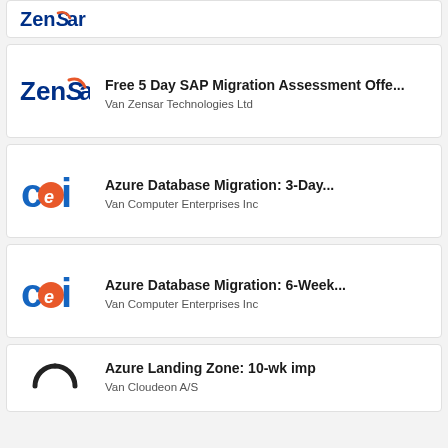[Figure (logo): ZenSar Technologies logo - partial card at top]
[Figure (logo): ZenSar Technologies logo]
Free 5 Day SAP Migration Assessment Offe...
Van Zensar Technologies Ltd
[Figure (logo): CEI Computer Enterprises Inc logo]
Azure Database Migration: 3-Day...
Van Computer Enterprises Inc
[Figure (logo): CEI Computer Enterprises Inc logo]
Azure Database Migration: 6-Week...
Van Computer Enterprises Inc
[Figure (logo): Cloudeon A/S logo - partial card at bottom]
Azure Landing Zone: 10-wk imp
Van Cloudeon A/S